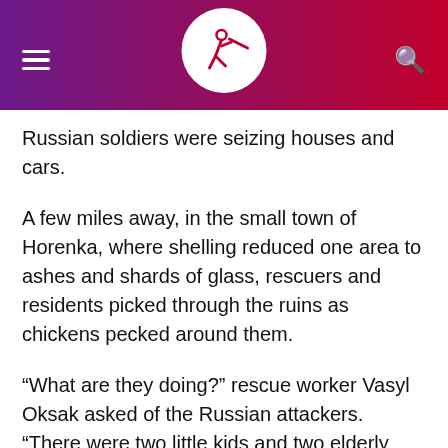[Figure (logo): News website header bar with hamburger menu on left, circular logo with stylized figure icon in center, search icon on right. Background gradient from purple to dark red.]
Russian soldiers were seizing houses and cars.
A few miles away, in the small town of Horenka, where shelling reduced one area to ashes and shards of glass, rescuers and residents picked through the ruins as chickens pecked around them.
“What are they doing?” rescue worker Vasyl Oksak asked of the Russian attackers. “There were two little kids and two elderly people living here. Come in and see what they have done.”